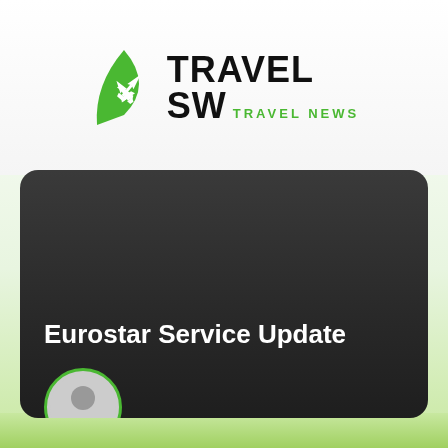[Figure (logo): Travel SW Travel News logo with green leaf/plane icon and bold black text]
[Figure (photo): Dark rounded card with 'Eurostar Service Update' title text in white bold font, on a dark gray gradient background with a user avatar icon at the bottom left]